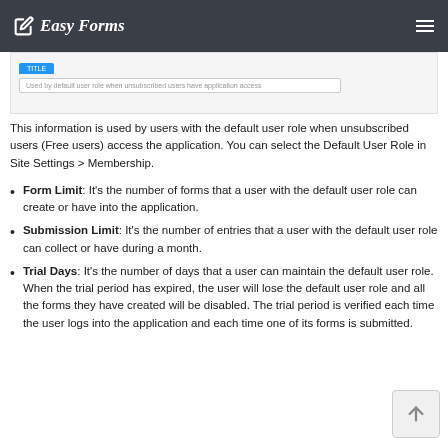Easy Forms
[Figure (screenshot): Partial screenshot of a UI with a blue tab and a text field with placeholder text 'Used by default user role when unsubscribed users have application access']
This information is used by users with the default user role when unsubscribed users (Free users) access the application. You can select the Default User Role in Site Settings > Membership.
Form Limit: It's the number of forms that a user with the default user role can create or have into the application.
Submission Limit: It's the number of entries that a user with the default user role can collect or have during a month.
Trial Days: It's the number of days that a user can maintain the default user role. When the trial period has expired, the user will lose the default user role and all the forms they have created will be disabled. The trial period is verified each time the user logs into the application and each time one of its forms is submitted.